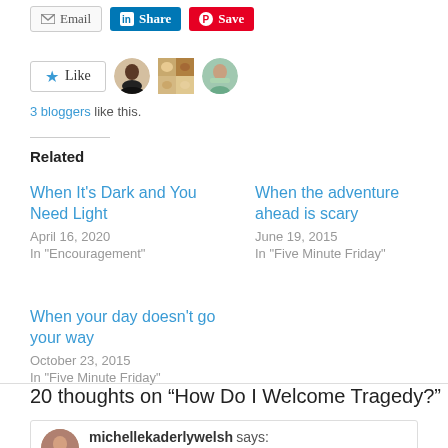[Figure (other): Share buttons row: Email button, LinkedIn Share button, Pinterest Save button]
[Figure (other): Like button with star icon, followed by three blogger avatar images]
3 bloggers like this.
Related
When It's Dark and You Need Light
April 16, 2020
In "Encouragement"
When the adventure ahead is scary
June 19, 2015
In "Five Minute Friday"
When your day doesn't go your way
October 23, 2015
In "Five Minute Friday"
20 thoughts on “How Do I Welcome Tragedy?”
michellekaderlywelsh says: